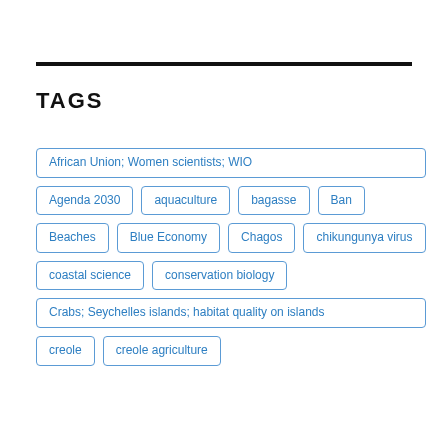TAGS
African Union; Women scientists; WIO
Agenda 2030
aquaculture
bagasse
Ban
Beaches
Blue Economy
Chagos
chikungunya virus
coastal science
conservation biology
Crabs; Seychelles islands; habitat quality on islands
creole
creole agriculture